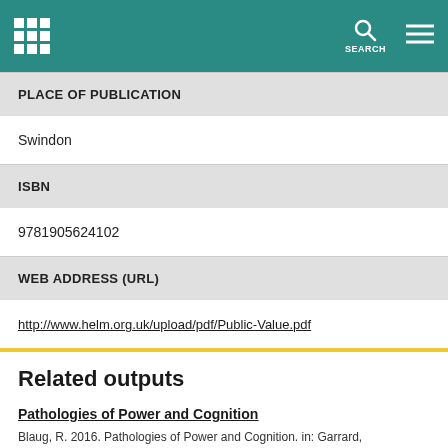SEARCH
PLACE OF PUBLICATION
Swindon
ISBN
9781905624102
WEB ADDRESS (URL)
http://www.helm.org.uk/upload/pdf/Public-Value.pdf
Related outputs
Pathologies of Power and Cognition
Blaug, R. 2016. Pathologies of Power and Cognition. in: Garrard, G. and Golsorkhi, S.(ed.) The transformation of P...